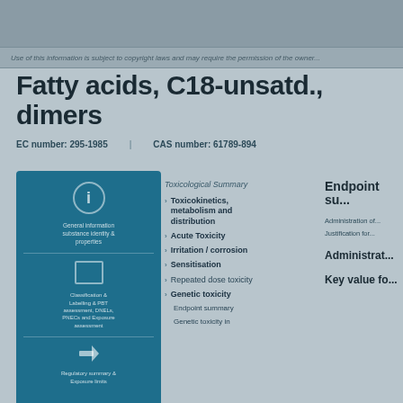Use of this information is subject to copyright laws and may require the permission of...
Fatty acids, C18-unsatd., dimers
EC number: 295-1985    CAS number: 61789-894
[Figure (infographic): Blue teal panel with icons and descriptive text sections: info icon at top with substance description, chart/table icon with classification & labeling, DNEL/PNECs, and exposure limits; arrow/regulatory icon with regulatory summary]
Toxicological Summary
Toxicokinetics, metabolism and distribution
Acute Toxicity
Irritation / corrosion
Sensitisation
Repeated dose toxicity
Genetic toxicity
Endpoint summary
Genetic toxicity in
Endpoint su...
Administration of...
Justification for...
Administrat...
Key value fo...